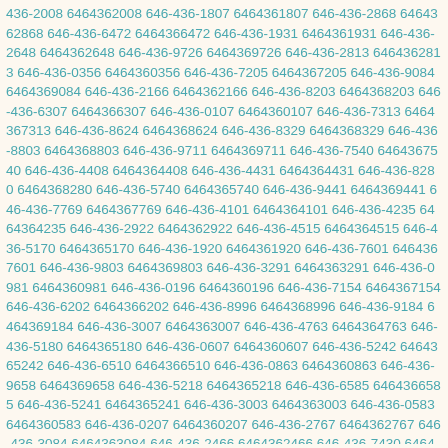436-2008 6464362008 646-436-1807 6464361807 646-436-2868 6464362868 646-436-6472 6464366472 646-436-1931 6464361931 646-436-2648 6464362648 646-436-9726 6464369726 646-436-2813 6464362813 646-436-0356 6464360356 646-436-7205 6464367205 646-436-9084 6464369084 646-436-2166 6464362166 646-436-8203 6464368203 646-436-6307 6464366307 646-436-0107 6464360107 646-436-7313 6464367313 646-436-8624 6464368624 646-436-8329 6464368329 646-436-8803 6464368803 646-436-9711 6464369711 646-436-7540 6464367540 646-436-4408 6464364408 646-436-4431 6464364431 646-436-8280 6464368280 646-436-5740 6464365740 646-436-9441 6464369441 646-436-7769 6464367769 646-436-4101 6464364101 646-436-4235 6464364235 646-436-2922 6464362922 646-436-4515 6464364515 646-436-5170 6464365170 646-436-1920 6464361920 646-436-7601 6464367601 646-436-9803 6464369803 646-436-3291 6464363291 646-436-0981 6464360981 646-436-0196 6464360196 646-436-7154 6464367154 646-436-6202 6464366202 646-436-8996 6464368996 646-436-9184 6464369184 646-436-3007 6464363007 646-436-4763 6464364763 646-436-5180 6464365180 646-436-0607 6464360607 646-436-5242 6464365242 646-436-6510 6464366510 646-436-0863 6464360863 646-436-9658 6464369658 646-436-5218 6464365218 646-436-6585 6464366585 646-436-5241 6464365241 646-436-3003 6464363003 646-436-0583 6464360583 646-436-0207 6464360207 646-436-2767 6464362767 646-436-3084 6464363084 646-436-2466 6464362466 646-436-7430 6464367430 646-436-6205 6464366205 646-436-1810 6464361810 646-436-8951 6464368951 646-436-2801 6464362801 646-436-2684 6464362684 646-436-8127 6464368127 646-436-4398 6464364398 646-436-3676